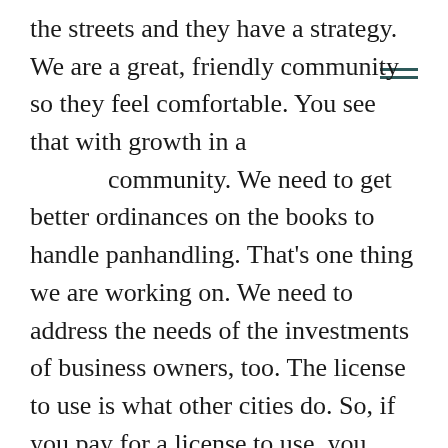the streets and they have a strategy. We are a great, friendly community so they feel comfortable. You see that with growth in a community. We need to get better ordinances on the books to handle panhandling. That's one thing we are working on. We need to address the needs of the investments of business owners, too. The license to use is what other cities do. So, if you pay for a license to use, you can't have people panhandling on your property. We want to be intelligent and we want to be good neighbors to our investments that are going on in the community. I do think the ordinance needs to be stronger when it comes to panhandling. As government, it's our job to do that.